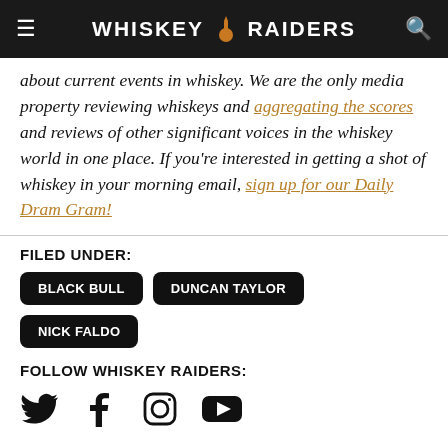WHISKEY RAIDERS
about current events in whiskey. We are the only media property reviewing whiskeys and aggregating the scores and reviews of other significant voices in the whiskey world in one place. If you’re interested in getting a shot of whiskey in your morning email, sign up for our Daily Dram Gram!
FILED UNDER:
BLACK BULL | DUNCAN TAYLOR | NICK FALDO
FOLLOW WHISKEY RAIDERS: